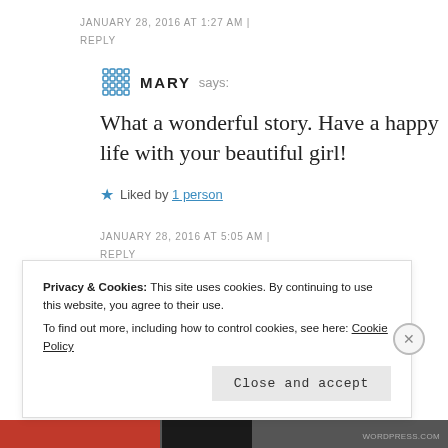JANUARY 28, 2016 AT 1:27 AM | REPLY
MARY says:
What a wonderful story. Have a happy life with your beautiful girl!
Liked by 1 person
JANUARY 28, 2016 AT 5:05 AM | REPLY
Privacy & Cookies: This site uses cookies. By continuing to use this website, you agree to their use. To find out more, including how to control cookies, see here: Cookie Policy
Close and accept